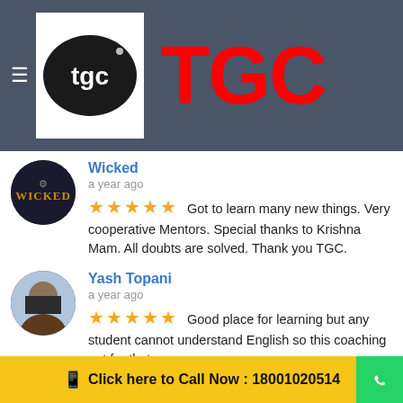[Figure (logo): TGC logo with tgc text on dark background and large red TGC lettering]
Wicked
a year ago
★★★★★ Got to learn many new things. Very cooperative Mentors. Special thanks to Krishna Mam. All doubts are solved. Thank you TGC.
Yash Topani
a year ago
★★★★★ Good place for learning but any student cannot understand English so this coaching not for that
Megha Tamboli
a year ago
★★★★★ Very good faculty of digital marketing@Pushpendra sir... Helping and good
Click here to Call Now : 18001020514